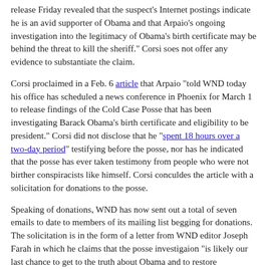release Friday revealed that the suspect's Internet postings indicate he is an avid supporter of Obama and that Arpaio's ongoing investigation into the legitimacy of Obama's birth certificate may be behind the threat to kill the sheriff." Corsi soes not offer any evidence to substantiate the claim.
Corsi proclaimed in a Feb. 6 article that Arpaio "told WND today his office has scheduled a news conference in Phoenix for March 1 to release findings of the Cold Case Posse that has been investigating Barack Obama's birth certificate and eligibility to be president." Corsi did not disclose that he "spent 18 hours over a two-day period" testifying before the posse, nor has he indicated that the posse has ever taken testimony from people who were not birther conspiracists like himself. Corsi conculdes the article with a solicitation for donations to the posse.
Speaking of donations, WND has now sent out a total of seven emails to date to members of its mailing list begging for donations. The solicitation is in the form of a letter from WND editor Joseph Farah in which he claims that the posse investigaion "is likely our last chance to get to the truth about Obama and to restore constitutional integrity to our political system."
That wording tells us that Farah, Corsi and WND believe the investigation will be rigged in favor of birthers -- and that WND's sucking up to Arpaio is designed to help ensure that result.